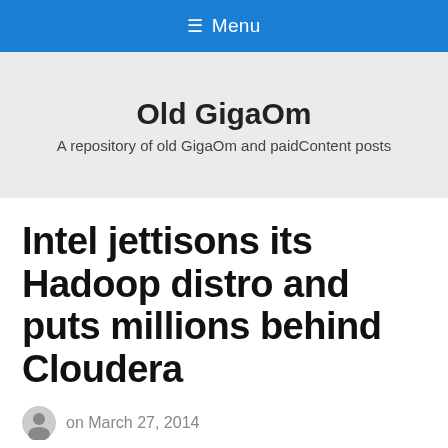≡ Menu
Old GigaOm
A repository of old GigaOm and paidContent posts
Intel jettisons its Hadoop distro and puts millions behind Cloudera
on March 27, 2014
In the desktop era, there was Wintel. In the big data era,